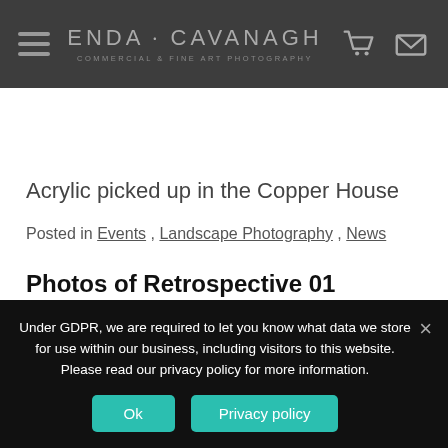ENDA • CAVANAGH COMMERCIAL & FINE ART PHOTOGRAPHY
Acrylic picked up in the Copper House
Posted in Events , Landscape Photography , News
Photos of Retrospective 01 Exhibition launch
Under GDPR, we are required to let you know what data we store for use within our business, including visitors to this website. Please read our privacy policy for more information.